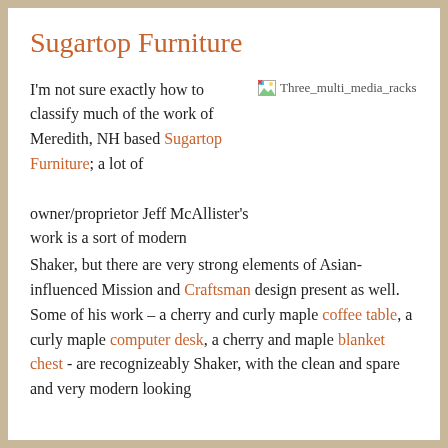Sugartop Furniture
I'm not sure exactly how to classify much of the work of Meredith, NH based Sugartop Furniture; a lot of owner/proprietor Jeff McAllister's work is a sort of modern Shaker, but there are very strong elements of Asian-influenced Mission and Craftsman design present as well. Some of his work – a cherry and curly maple coffee table, a curly maple computer desk, a cherry and maple blanket chest - are recognizeably Shaker, with the clean and spare and very modern looking
[Figure (photo): Broken image placeholder labeled Three_multi_media_racks]